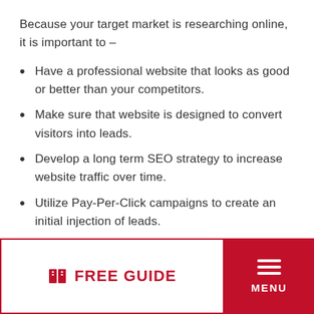Because your target market is researching online, it is important to –
Have a professional website that looks as good or better than your competitors.
Make sure that website is designed to convert visitors into leads.
Develop a long term SEO strategy to increase website traffic over time.
Utilize Pay-Per-Click campaigns to create an initial injection of leads.
Have well developed landing pages so
FREE GUIDE | MENU